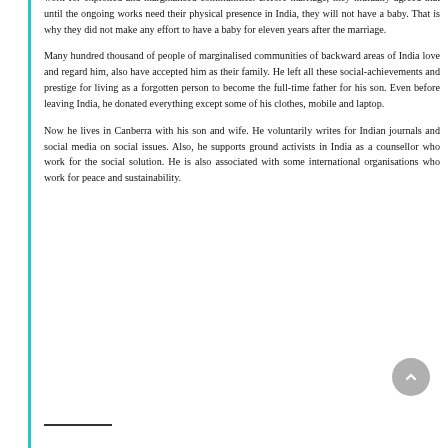work for exploited and marginalised communities. Before marriage, they mutually agreed that until the ongoing works need their physical presence in India, they will not have a baby. That is why they did not make any effort to have a baby for eleven years after the marriage.
Many hundred thousand of people of marginalised communities of backward areas of India love and regard him, also have accepted him as their family. He left all these social-achievements and prestige for living as a forgotten person to become the full-time father for his son. Even before leaving India, he donated everything except some of his clothes, mobile and laptop.
Now he lives in Canberra with his son and wife. He voluntarily writes for Indian journals and social media on social issues. Also, he supports ground activists in India as a counsellor who work for the social solution. He is also associated with some international organisations who work for peace and sustainability.